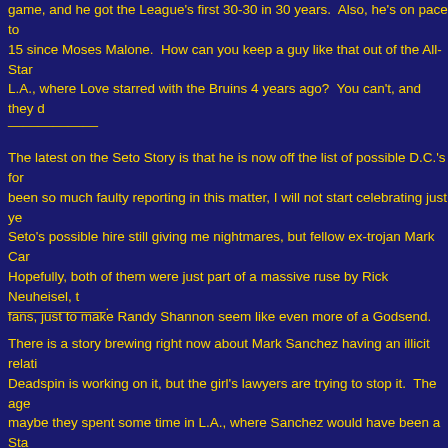game, and he got the League's first 30-30 in 30 years.  Also, he's on pace to 15 since Moses Malone.  How can you keep a guy like that out of the All-Star L.A., where Love starred with the Bruins 4 years ago?  You can't, and they d
____________
The latest on the Seto Story is that he is now off the list of possible D.C.'s fo been so much faulty reporting in this matter, I will not start celebrating just ye Seto's possible hire still giving me nightmares, but fellow ex-trojan Mark Car Hopefully, both of them were just part of a massive ruse by Rick Neuheisel, t fans, just to make Randy Shannon seem like even more of a Godsend.
_____________.
There is a story brewing right now about Mark Sanchez having an illicit relati Deadspin is working on it, but the girl's lawyers are trying to stop it.  The age maybe they spent some time in L.A., where Sanchez would have been a Sta and see what comes of these "charges."  My only question so far is:  What d
____________
Another story making the rounds (which is detailed in the comments section ex-trojan Everson Griffen putting together a Vegas Super Bowl Party Bus.  H has invited a bunch of trojan players, and thousands of other people, via Fac going to check into Las Vegas.  Sanchez' the center of all this, being that the